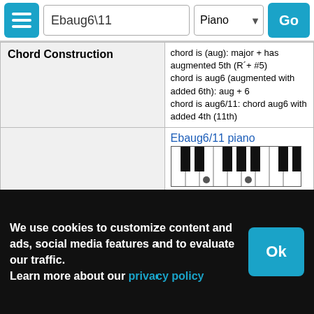Ebaug6\11 | Piano | Go
| Chord Construction | Details |
| --- | --- |
| Chord Construction | chord is (aug): major + has augmented 5th (R´+ #5)
chord is aug6 (augmented with added 6th): aug + 6
chord is aug6/11: chord aug6 with added 4th (11th) |
|  | Ebaug6/11 piano [piano diagram] Ebaug6/11 guitar [guitar diagram] Ebaug6/11 ukulele [ukulele diagram] |
[Figure (screenshot): Piano keyboard diagram showing Ebaug6/11 chord]
[Figure (screenshot): Guitar fretboard diagram showing Ebaug6/11 chord]
[Figure (screenshot): Ukulele fretboard diagram showing Ebaug6/11 chord]
We use cookies to customize content and ads, social media features and to evaluate our traffic.
Learn more about our privacy policy